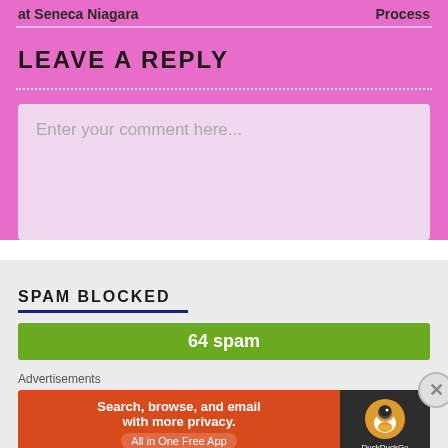at Seneca Niagara | Process
LEAVE A REPLY
Enter your comment here...
SPAM BLOCKED
64 spam
Advertisements
[Figure (other): DuckDuckGo advertisement banner: Search, browse, and email with more privacy. All in One Free App]